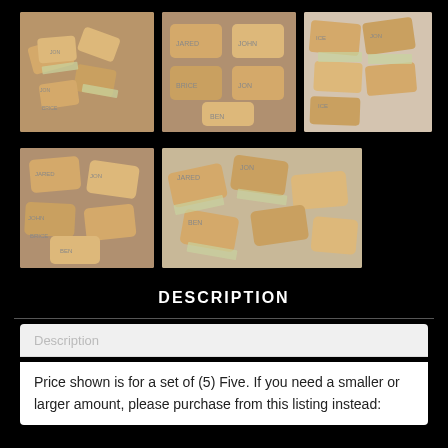[Figure (photo): Five copper money clips with stamped names on wood surface, scattered with dollar bills]
[Figure (photo): Copper money clips with names JARED, JOHN, BRICE, JON, BEN on wooden surface]
[Figure (photo): Copper money clips with dollar bills, close up view]
[Figure (photo): Copper money clips with names JARED, JON, BRICE, BEN on wood surface]
[Figure (photo): Pile of copper money clips with dollar bills]
DESCRIPTION
Description
Price shown is for a set of (5) Five. If you need a smaller or larger amount, please purchase from this listing instead: